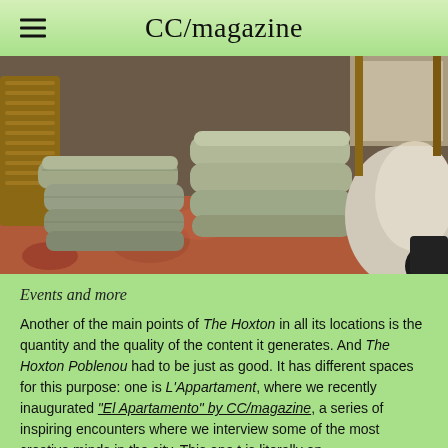CC/magazine
[Figure (photo): Close-up photograph of stacked upholstered ottomans or cushion seats in grey/sage fabric, with rattan furniture and a patterned rug visible in the background]
Events and more
Another of the main points of The Hoxton in all its locations is the quantity and the quality of the content it generates. And The Hoxton Poblenou had to be just as good. It has different spaces for this purpose: one is L'Appartament, where we recently inaugurated "El Apartamento" by CC/magazine, a series of inspiring encounters where we interview some of the most creative minds in the city. This one t is literally on